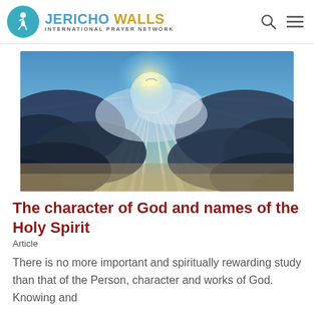JERICHO WALLS INTERNATIONAL PRAYER NETWORK
[Figure (photo): Dramatic sky photo showing sunbeams bursting through dark storm clouds with a bird silhouette in the distance]
The character of God and names of the Holy Spirit
Article
There is no more important and spiritually rewarding study than that of the Person, character and works of God. Knowing and